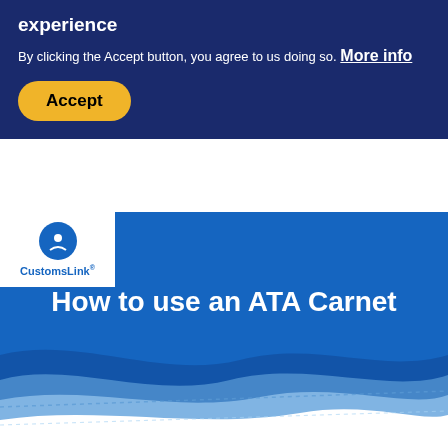experience
By clicking the Accept button, you agree to us doing so. More info
[Figure (other): Accept button — yellow rounded rectangle with bold black text 'Accept']
[Figure (logo): CustomsLink logo — blue circle with white icon above text 'CustomsLink®' on white background]
How to use an ATA Carnet
If you are temporarily taking goods out of the